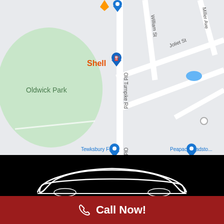[Figure (map): Google Maps screenshot showing area around Old Turnpike Rd in Oldwick, NJ. Features include Oldwick Park (green area, left), Shell gas station, street labels for Joliet St, William St, Miller Ave, Old Turnpike Rd. Blue map pins visible at top and bottom, orange pin at top. Water feature visible upper right.]
[Figure (illustration): White car silhouette (sports car) on black background]
Call Now!